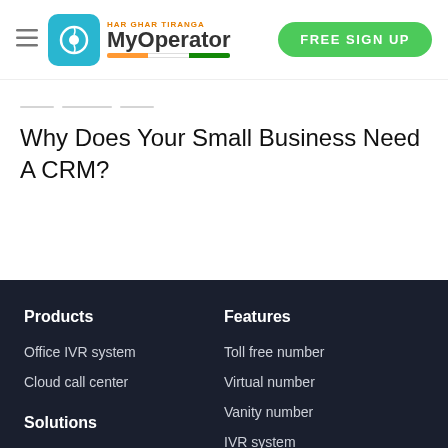[Figure (logo): MyOperator logo with Indian flag colors and HAR GHAR TIRANGA tagline, with a teal phone icon box]
[Figure (other): FREE SIGN UP green rounded button]
Why Does Your Small Business Need A CRM?
Products
Office IVR system
Cloud call center
Features
Toll free number
Virtual number
Vanity number
IVR system
Call recording
Call tracking
Solutions